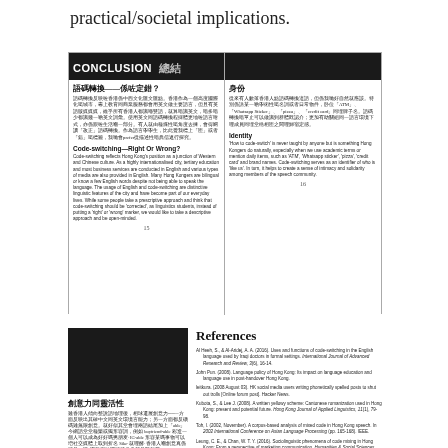practical/societal implications.
[Figure (infographic): Two-page spread showing Conclusion section with Chinese and English text about code-switching in Hong Kong, with a black header bar reading CONCLUSION 總結. Left page has sections: 語碼轉換──係咗定錯？ and Code-switching—Right Or Wrong? Right page has sections: 身份 (Identity) with Chinese and English text.]
[Figure (infographic): Bottom section showing a dark image on the left and References section on the right with multiple citations about code-switching research.]
創意力同靈活性
雖香港人傾向整說語地理後，相球還展創意力──一方面反映出其確中文同英文環境言能力；另一方面都反磺碼難無限創意。就好似其堂會埋兩語結尾加上「able」今網語堂堂種樂或獨形容詞，例如 boyfriend-able 彩造一個人可以成為好好嗎男朋友‧IG-able 形容某嗎事物可以增社交媒體上取到折名 Sike‧就哩酵‧香港人嗰創意真係可見一班‧嗰種用法哩頭特色多超見既知著。
References
Al Heeh, S., & Al-Aridej, A. A. (2016). Uses and functions of code-switching in the English language used by Iraqi doctors in formal settings. International Journal of Advanced Research and Review, 3(6), 16-14.
John Pun. (2008). Language policy of Hong Kong: Its impact on language education and language use in post-handover Hong Kong.
leitkura. (2008 August 03). HK social media users writing phonetically spelled posts to shut out trolls [Online forum post]. Hacker News.
Kubota, S., & Lee J. (2008). A written yellowy scheme: Cantonese romanization used in Hong Kong: present and potential future. Hong Kong Journal of Applied Linguistics, 11(1), 79-98.
Toh, I. (2002, November). A corpus-based analysis of mixed code in Hong Kong speech. In 2002 International Conference on Asian Language Processing (pp. 165-168). IEEE.
Leung, C. E., & Chan, W. T. Y. (2016). Sociolinguistic phenomena of code mixing in Hong Kong: From a perspective of marketing communication. Humanities & Social Sciences Reviews, 8(1), 20-28.